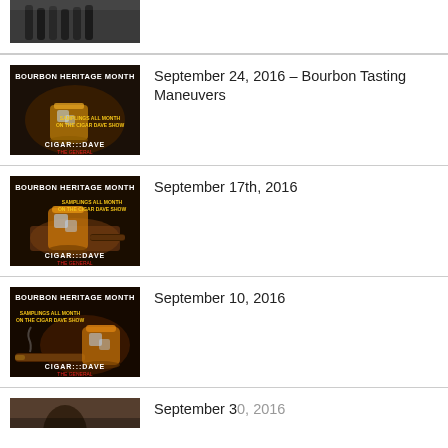[Figure (photo): Partial view of top entry thumbnail showing bottles on a bar counter]
[Figure (photo): Bourbon Heritage Month promotional image with whiskey glass and Cigar Dave branding]
September 24, 2016 – Bourbon Tasting Maneuvers
[Figure (photo): Bourbon Heritage Month promotional image with whiskey glass on wooden board and Cigar Dave branding]
September 17th, 2016
[Figure (photo): Bourbon Heritage Month promotional image with cigar and whiskey glass and Cigar Dave branding]
September 10, 2016
[Figure (photo): Partial view of bottom entry thumbnail - cropped]